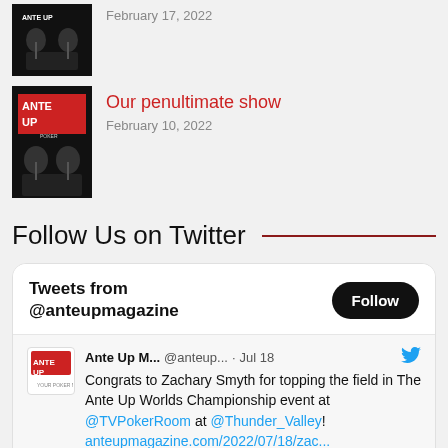[Figure (other): Ante Up Podcast thumbnail - black silhouette image with two figures at microphones]
February 17, 2022
[Figure (other): Ante Up Podcast thumbnail - black silhouette image with two figures at microphones]
Our penultimate show
February 10, 2022
Follow Us on Twitter
[Figure (screenshot): Twitter widget - Tweets from @anteupmagazine. Tweet from Ante Up M... @anteup... Jul 18: Congrats to Zachary Smyth for topping the field in The Ante Up Worlds Championship event at @TVPokerRoom at @Thunder_Valley! anteupmagazine.com/2022/07/18/zac...]